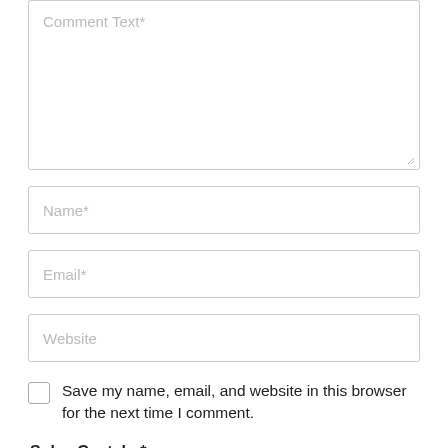[Figure (screenshot): A web comment form showing a large textarea with placeholder 'Comment Text*', followed by input fields for 'Name*', 'Email*', and 'Website', a checkbox with label 'Save my name, email, and website in this browser for the next time I comment.', and a 'Solve Captcha*' label.]
Save my name, email, and website in this browser for the next time I comment.
Solve Captcha*